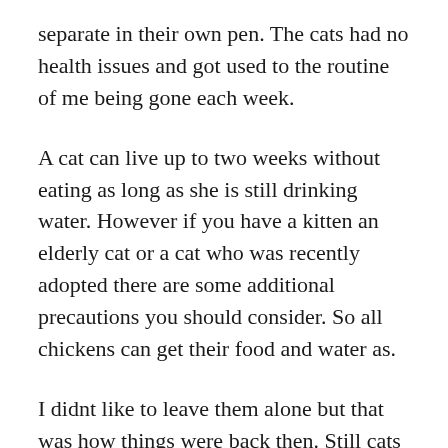separate in their own pen. The cats had no health issues and got used to the routine of me being gone each week.
A cat can live up to two weeks without eating as long as she is still drinking water. However if you have a kitten an elderly cat or a cat who was recently adopted there are some additional precautions you should consider. So all chickens can get their food and water as.
I didnt like to leave them alone but that was how things were back then. Still cats are able to survive as solo creatures Krieger says even if